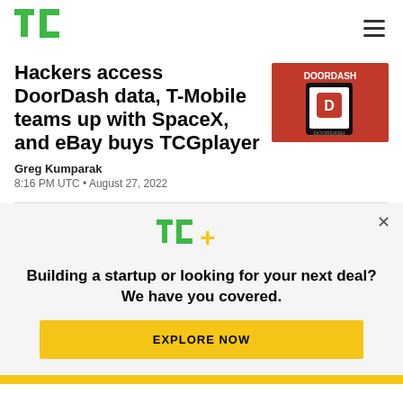TechCrunch logo and navigation
Hackers access DoorDash data, T-Mobile teams up with SpaceX, and eBay buys TCGplayer
[Figure (photo): DoorDash app on smartphone against red background with DoorDash logo]
Greg Kumparak
8:16 PM UTC • August 27, 2022
[Figure (logo): TC+ logo (TechCrunch Plus) with green TC and golden plus sign]
Building a startup or looking for your next deal? We have you covered.
EXPLORE NOW